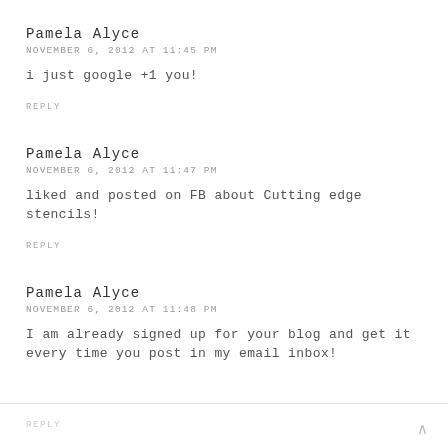Pamela Alyce
NOVEMBER 6, 2012 AT 11:45 PM
i just google +1 you!
REPLY
Pamela Alyce
NOVEMBER 6, 2012 AT 11:47 PM
liked and posted on FB about Cutting edge stencils!
REPLY
Pamela Alyce
NOVEMBER 6, 2012 AT 11:48 PM
I am already signed up for your blog and get it every time you post in my email inbox!
REPLY